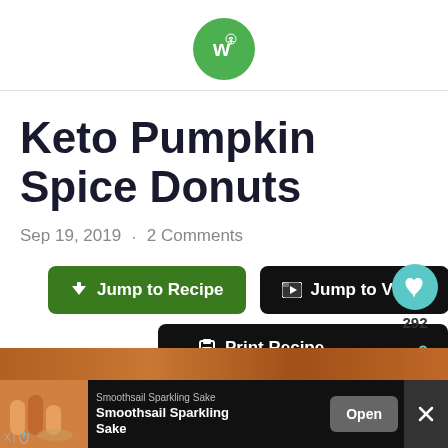[Figure (logo): Green circle logo with white stylized 'w' and leaf icon]
Keto Pumpkin Spice Donuts
Sep 19, 2019  ·  2 Comments
[Figure (screenshot): Three buttons: 'Jump to Recipe' (green), 'Jump to Video' (black), 'Print Recipe' (black), plus heart icon with count 292 and share icon]
[Figure (photo): Partial photo of pumpkin spice donuts at the bottom]
[Figure (screenshot): Advertisement bar at the bottom for Smoothsail Sparkling Sake with Open button and X close button]